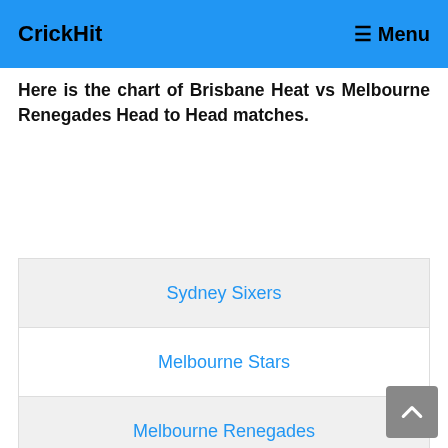CrickHit   Menu
Here is the chart of Brisbane Heat vs Melbourne Renegades Head to Head matches.
Sydney Sixers
Melbourne Stars
Melbourne Renegades
Perth Scorchers
Sydney Thunder
Brisbane Heat